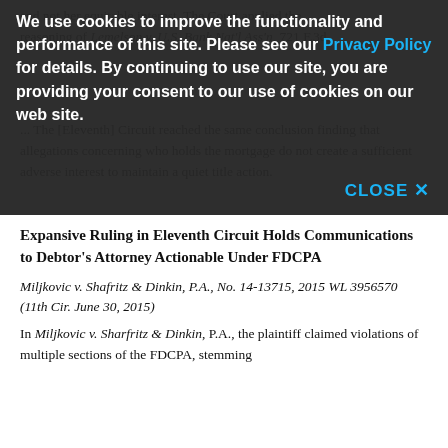and not her equitable interest. The Court applied the reasoning of Lemelson v. U.S. Bank Nat'l Ass'n, 721 F.3d ... The [Eleventh] Circuit reached the same conclusion finding that allegations concerning who holds the mortgage do not create a sufficient adverse interest to maintain a quiet title action.
We use cookies to improve the functionality and performance of this site. Please see our Privacy Policy for details. By continuing to use our site, you are providing your consent to our use of cookies on our web site.
Expansive Ruling in Eleventh Circuit Holds Communications to Debtor's Attorney Actionable Under FDCPA
Miljkovic v. Shafritz & Dinkin, P.A., No. 14-13715, 2015 WL 3956570 (11th Cir. June 30, 2015)
In Miljkovic v. Sharfritz & Dinkin, P.A., the plaintiff claimed violations of multiple sections of the FDCPA, stemming